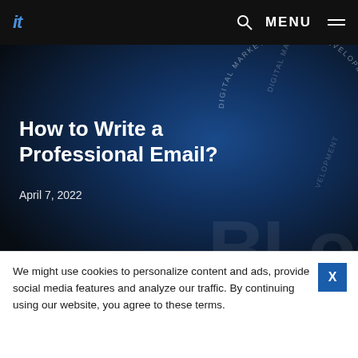it | MENU
[Figure (screenshot): Hero banner with dark blue gradient background and circular 'DIGITAL MARKETING & WEB DEVELOPMENT' watermark text, plus large faded background text]
How to Write a Professional Email?
April 7, 2022
Home > Blog > How to Write a Professional Email?
We might use cookies to personalize content and ads, provide social media features and analyze our traffic. By continuing using our website, you agree to these terms.